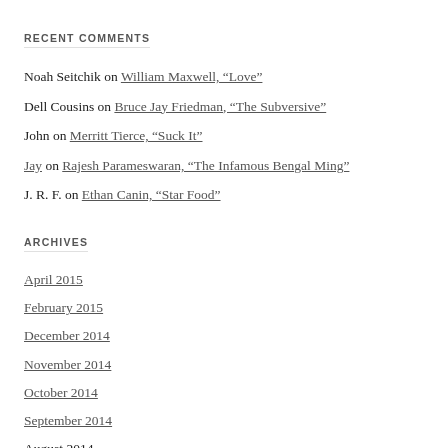RECENT COMMENTS
Noah Seitchik on William Maxwell, “Love”
Dell Cousins on Bruce Jay Friedman, “The Subversive”
John on Merritt Tierce, “Suck It”
Jay on Rajesh Parameswaran, “The Infamous Bengal Ming”
J. R. F. on Ethan Canin, “Star Food”
ARCHIVES
April 2015
February 2015
December 2014
November 2014
October 2014
September 2014
August 2014